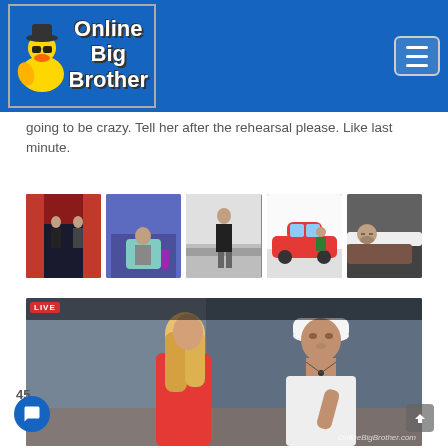[Figure (logo): Online Big Brother website logo with rubber duck mascot wearing sunglasses and hat, blue background with white text reading Online Big Brother]
going to be crazy. Tell her after the rehearsal please. Like last minute.
[Figure (photo): Strip of 5 thumbnail images from Big Brother live feeds showing houseguests in various rooms]
[Figure (photo): Live feed screenshot showing a blonde woman in a red dress and a man in a white cap talking, with LIVE badge in corner and OnlineBigBrother.com watermark]